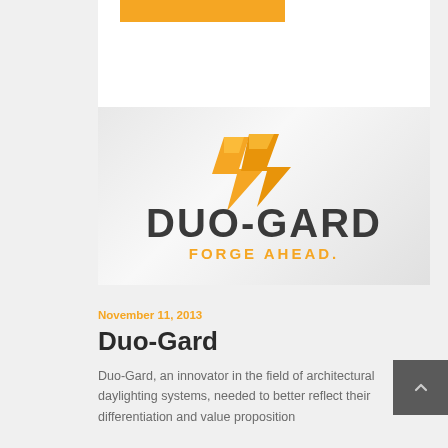[Figure (logo): Duo-Gard logo with orange chevron/lightning bolt graphic above 'DUO-GARD' text in dark gray and 'FORGE AHEAD.' tagline in orange, on a light gray gradient background]
November 11, 2013
Duo-Gard
Duo-Gard, an innovator in the field of architectural daylighting systems, needed to better reflect their differentiation and value proposition